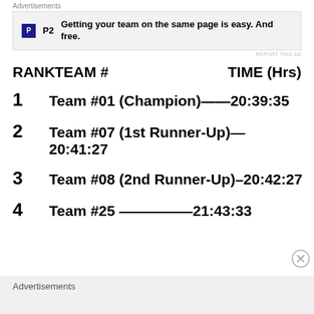Advertisements
[Figure (other): Advertisement banner: P2 logo with text 'Getting your team on the same page is easy. And free.']
REPORT THIS AD
RANK    TEAM #    TIME (Hrs)
1    Team #01 (Champion)——20:39:35
2    Team #07 (1st Runner-Up)— 20:41:27
3    Team #08 (2nd Runner-Up)–20:42:27
4    Team #25 ————————21:43:33
Advertisements